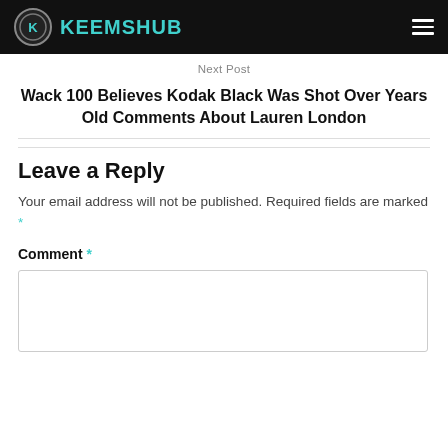KEEMSHUB
Next Post
Wack 100 Believes Kodak Black Was Shot Over Years Old Comments About Lauren London
Leave a Reply
Your email address will not be published. Required fields are marked *
Comment *